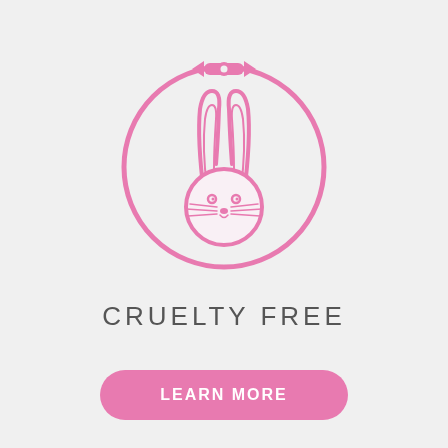[Figure (illustration): Pink line-art cruelty-free bunny logo inside an embroidery hoop circle with decorative clasp at top. Bunny face with long ears, round face, eyes, nose, and whiskers.]
CRUELTY FREE
LEARN MORE